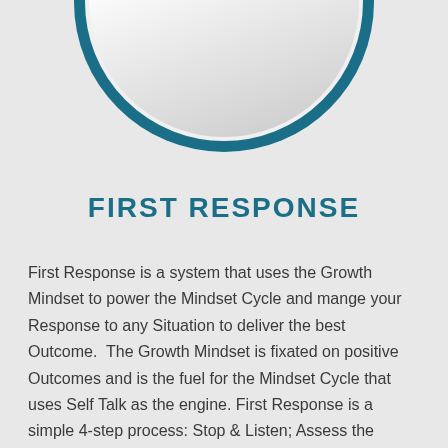[Figure (illustration): Partial circular badge/medallion graphic — a large teal/dark blue ring with a light gray gradient inner circle, cropped at the top of the page showing only the bottom half of the circle.]
FIRST RESPONSE
First Response is a system that uses the Growth Mindset to power the Mindset Cycle and mange your Response to any Situation to deliver the best Outcome.  The Growth Mindset is fixated on positive Outcomes and is the fuel for the Mindset Cycle that uses Self Talk as the engine. First Response is a simple 4-step process: Stop & Listen; Assess the Situation; Identify Opportunities; Discipline your Response.  Drive productivity, safety and revenues